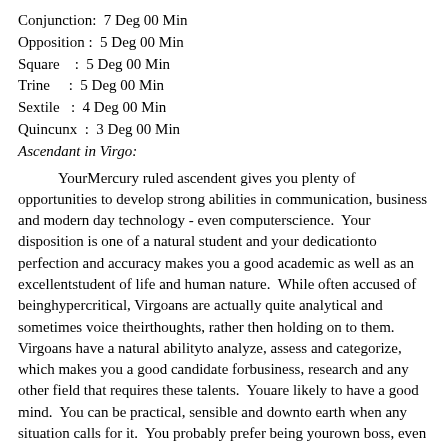Conjunction:  7 Deg 00 Min
Opposition :  5 Deg 00 Min
Square    :  5 Deg 00 Min
Trine     :  5 Deg 00 Min
Sextile   :  4 Deg 00 Min
Quincunx  :  3 Deg 00 Min
Ascendant in Virgo:
Your Mercury ruled ascendent gives you plenty of opportunities to develop strong abilities in communication, business and modern day technology - even computer science. Your disposition is one of a natural student and your dedication to perfection and accuracy makes you a good academic as well as an excellent student of life and human nature. While often accused of being hypercritical, Virgoans are actually quite analytical and sometimes voice their thoughts, rather then holding on to them. Virgoans have a natural ability to analyze, assess and categorize, which makes you a good candidate for business, research and any other field that requires these talents. You are likely to have a good mind. You can be practical, sensible and down to earth when any situation calls for it. You probably prefer being your own boss, even if within the structure of a large corporation. You like to find your own little niche and be given your assignments, then left alone to do the work your own way. Nearly all Virgo individuals are natural efficiency experts, whether at home or in the office.